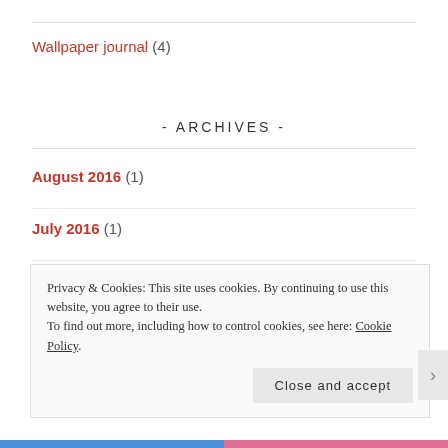Wallpaper journal (4)
- ARCHIVES -
August 2016 (1)
July 2016 (1)
April 2016 (1)
March 2016 (2)
Privacy & Cookies: This site uses cookies. By continuing to use this website, you agree to their use. To find out more, including how to control cookies, see here: Cookie Policy
Close and accept